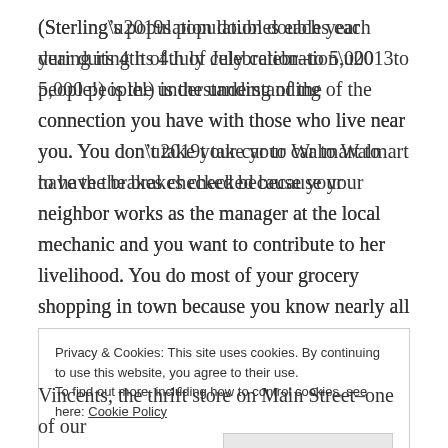(Sterling’s population doubles each year during its 4th of July celebration–to 5,000 people!) is the understanding of the connection you have with those who live near you. You don’t take your car to Walmart to have the brakes checked because your neighbor works as the manager at the local mechanic and you want to contribute to her livelihood. You do most of your grocery shopping in town because you know nearly all the checkout clerks’ names–and they know yours.
We’ve been trying to keep this lesson in mind as we’ve moved back to West Chicago, with its 27,000 people
Privacy & Cookies: This site uses cookies. By continuing to use this website, you agree to their use.
To find out more, including how to control cookies, see here: Cookie Policy
Close and accept
Vincents, the thrift store on Main Street–one of our